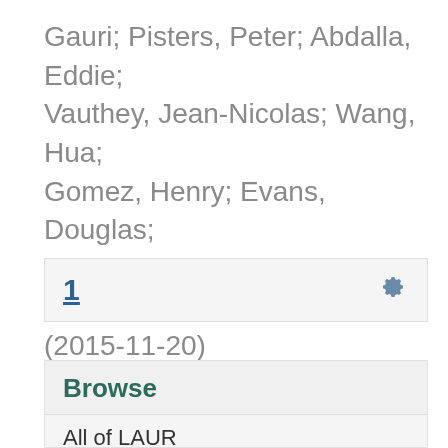Gauri; Pisters, Peter; Abdalla, Eddie; Vauthey, Jean-Nicolas; Wang, Hua; Gomez, Henry; Evans, Douglas; Abbruzzese, James; Wang, Huamin (2015-11-20)
1
Browse
All of LAUR
Communities & Collections